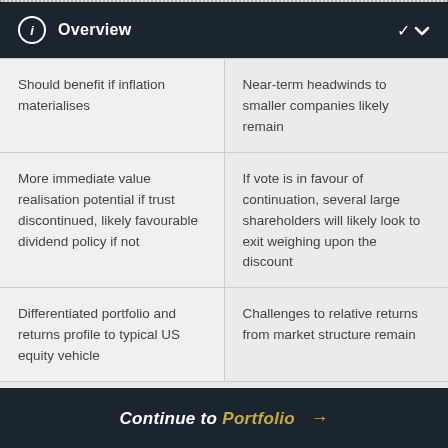Overview
|  |  |
| --- | --- |
| Should benefit if inflation materialises | Near-term headwinds to smaller companies likely remain |
| More immediate value realisation potential if trust discontinued, likely favourable dividend policy if not | If vote is in favour of continuation, several large shareholders will likely look to exit weighing upon the discount |
| Differentiated portfolio and returns profile to typical US equity vehicle | Challenges to relative returns from market structure remain |
Continue to Portfolio →